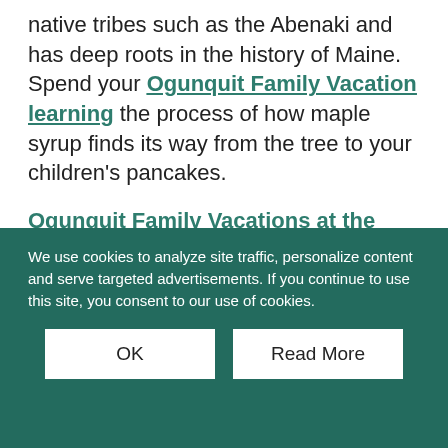native tribes such as the Abenaki and has deep roots in the history of Maine.  Spend your Ogunquit Family Vacation learning the process of how maple syrup finds its way from the tree to your children's pancakes.
Ogunquit Family Vacations at the Meadowmere Resort during the 4th Sunday of every March include a map of the states' best maple farms. 2015 brings our 32nd Annual Maine Maple Sunday Event including Educational Demonstrations, Syrup tastings and of course your kids' delicious samples.
We use cookies to analyze site traffic, personalize content and serve targeted advertisements. If you continue to use this site, you consent to our use of cookies.